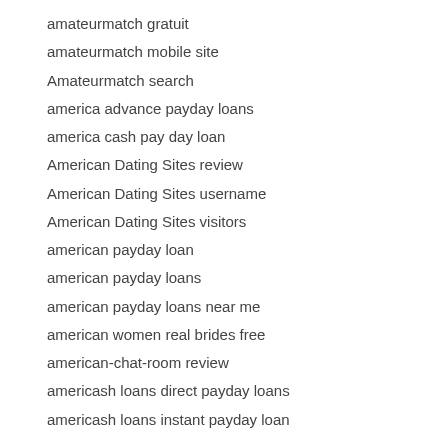amateurmatch gratuit
amateurmatch mobile site
Amateurmatch search
america advance payday loans
america cash pay day loan
American Dating Sites review
American Dating Sites username
American Dating Sites visitors
american payday loan
american payday loans
american payday loans near me
american women real brides free
american-chat-room review
americash loans direct payday loans
americash loans instant payday loan